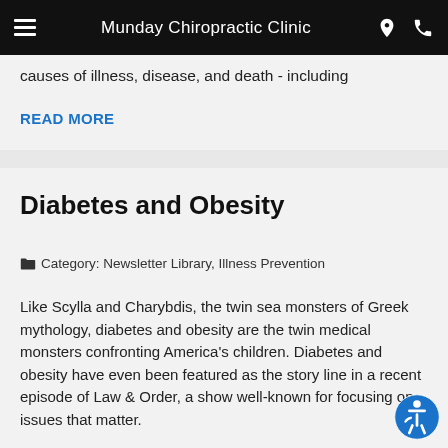Munday Chiropractic Clinic
causes of illness, disease, and death - including
READ MORE
Diabetes and Obesity
Category: Newsletter Library, Illness Prevention
Like Scylla and Charybdis, the twin sea monsters of Greek mythology, diabetes and obesity are the twin medical monsters confronting America's children. Diabetes and obesity have even been featured as the story line in a recent episode of Law & Order, a show well-known for focusing on issues that matter.
READ MORE